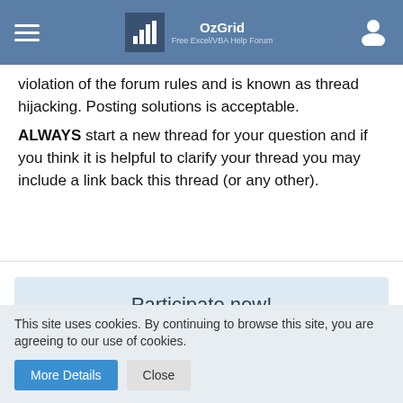OzGrid — Free Excel/VBA Help Forum
violation of the forum rules and is known as thread hijacking. Posting solutions is acceptable. ALWAYS start a new thread for your question and if you think it is helpful to clarify your thread you may include a link back this thread (or any other).
Participate now!
Don't have an account yet? Register yourself now and be a part of our community!
This site uses cookies. By continuing to browse this site, you are agreeing to our use of cookies.